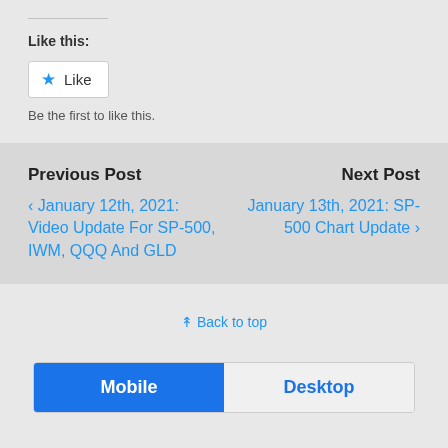Like this:
[Figure (other): Like button widget with blue star icon and 'Like' text, followed by 'Be the first to like this.']
Previous Post
‹ January 12th, 2021: Video Update For SP-500, IWM, QQQ And GLD
Next Post
January 13th, 2021: SP-500 Chart Update ›
⇈ Back to top
[Figure (other): Mobile/Desktop toggle bar with Mobile selected (blue) and Desktop unselected]